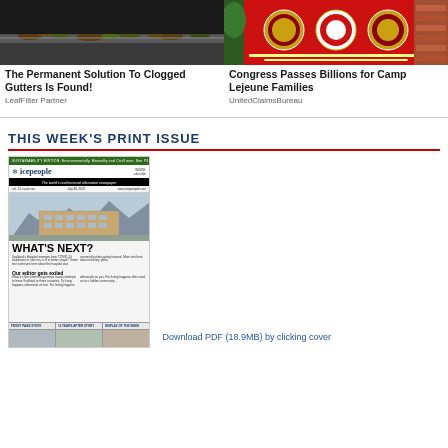[Figure (photo): Photo of clogged gutters with debris and leaves]
The Permanent Solution To Clogged Gutters Is Found!
LeafFilter Partner
[Figure (photo): Photo of a red military memorial sign/monument at Camp Lejeune]
Congress Passes Billions for Camp Lejeune Families
UnitedClaimsBureau
THIS WEEK'S PRINT ISSUE
[Figure (photo): Thumbnail of icepeople newspaper front page with headline WHAT'S NEXT? and subheadline Our editor gets exiled]
Download PDF (18.9MB) by clicking cover